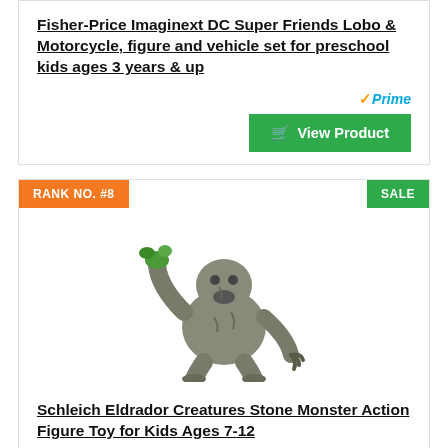Fisher-Price Imaginext DC Super Friends Lobo & Motorcycle, figure and vehicle set for preschool kids ages 3 years & up
[Figure (other): Amazon Prime logo with orange checkmark and blue italic 'Prime' text]
[Figure (other): Green 'View Product' button with shopping cart icon]
RANK NO. #8
SALE
[Figure (photo): Schleich Eldrador Creatures Stone Monster action figure — a large grey rocky monster creature with green plant accents, posed aggressively]
Schleich Eldrador Creatures Stone Monster Action Figure Toy for Kids Ages 7-12